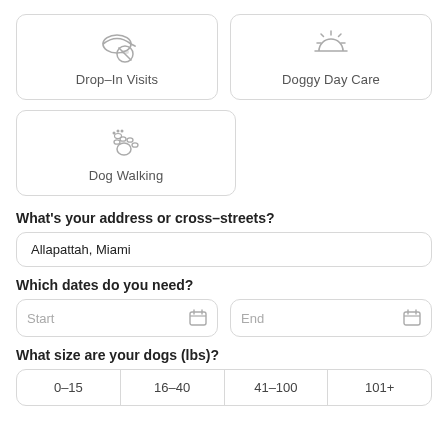[Figure (infographic): Service selection cards: Drop-In Visits (icon of paw with prohibition circle), Doggy Day Care (sunrise icon), Dog Walking (paw prints icon)]
What's your address or cross-streets?
Allapattah, Miami
Which dates do you need?
Start
End
What size are your dogs (lbs)?
| 0–15 | 16–40 | 41–100 | 101+ |
| --- | --- | --- | --- |